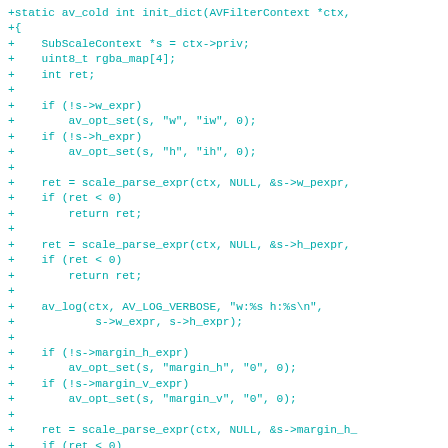+static av_cold int init_dict(AVFilterContext *ctx,
+{
+    SubScaleContext *s = ctx->priv;
+    uint8_t rgba_map[4];
+    int ret;
+
+    if (!s->w_expr)
+        av_opt_set(s, "w", "iw", 0);
+    if (!s->h_expr)
+        av_opt_set(s, "h", "ih", 0);
+
+    ret = scale_parse_expr(ctx, NULL, &s->w_pexpr,
+    if (ret < 0)
+        return ret;
+
+    ret = scale_parse_expr(ctx, NULL, &s->h_pexpr,
+    if (ret < 0)
+        return ret;
+
+    av_log(ctx, AV_LOG_VERBOSE, "w:%s h:%s\n",
+            s->w_expr, s->h_expr);
+
+    if (!s->margin_h_expr)
+        av_opt_set(s, "margin_h", "0", 0);
+    if (!s->margin_v_expr)
+        av_opt_set(s, "margin_v", "0", 0);
+
+    ret = scale_parse_expr(ctx, NULL, &s->margin_h_
+    if (ret < 0)
+        return ret;
+
+    ret = scale_parse_expr(ctx, NULL, &s->margin_v